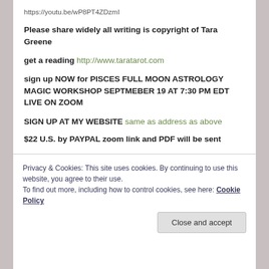https://youtu.be/wP8PT4ZDzmI
Please share widely all writing is copyright of Tara Greene
get a reading http://www.taratarot.com
sign up NOW for PISCES FULL MOON ASTROLOGY MAGIC WORKSHOP SEPTMEBER 19 AT 7:30 PM EDT LIVE ON ZOOM
SIGN UP AT MY WEBSITE same as address as above
$22 U.S. by PAYPAL zoom link and PDF will be sent
Privacy & Cookies: This site uses cookies. By continuing to use this website, you agree to their use.
To find out more, including how to control cookies, see here: Cookie Policy
Close and accept